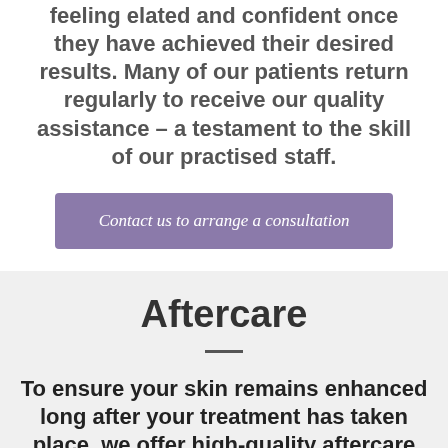feeling elated and confident once they have achieved their desired results. Many of our patients return regularly to receive our quality assistance – a testament to the skill of our practised staff.
Contact us to arrange a consultation
Aftercare
To ensure your skin remains enhanced long after your treatment has taken place, we offer high-quality aftercare